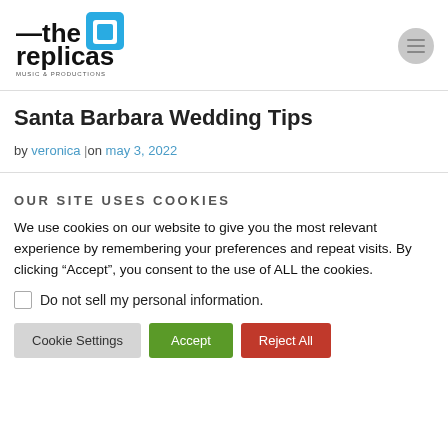[Figure (logo): The Replicas Music & Productions logo with blue square icon and black text]
Santa Barbara Wedding Tips
by veronica |on may 3, 2022
OUR SITE USES COOKIES
We use cookies on our website to give you the most relevant experience by remembering your preferences and repeat visits. By clicking “Accept”, you consent to the use of ALL the cookies.
Do not sell my personal information.
Cookie Settings | Accept | Reject All